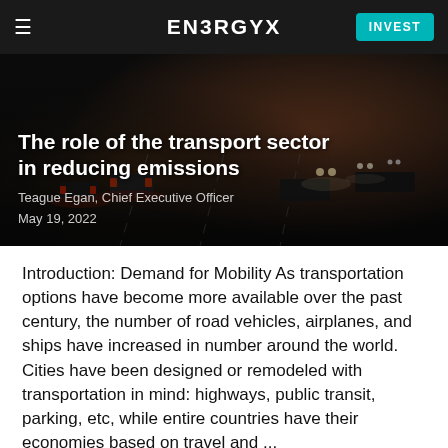ENERGYX   INVEST
[Figure (photo): Nighttime highway with heavy traffic, cars with headlights and taillights visible, multiple lanes]
The role of the transport sector in reducing emissions
Teague Egan, Chief Executive Officer
May 19, 2022
Introduction: Demand for Mobility As transportation options have become more available over the past century, the number of road vehicles, airplanes, and ships have increased in number around the world. Cities have been designed or remodeled with transportation in mind: highways, public transit, parking, etc, while entire countries have their economies based on travel and ...
READ NOW